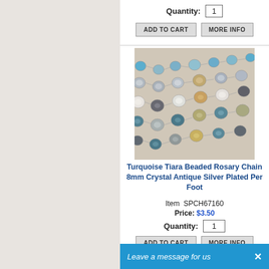Quantity: 1
ADD TO CART | MORE INFO
[Figure (photo): Photo of turquoise and crystal beaded rosary chain, multiple strands of colorful beads on silver wire.]
Turquoise Tiara Beaded Rosary Chain 8mm Crystal Antique Silver Plated Per Foot
Item  SPCH67160
Price: $3.50
Quantity: 1
ADD TO CART | MORE INFO
Leave a message for us